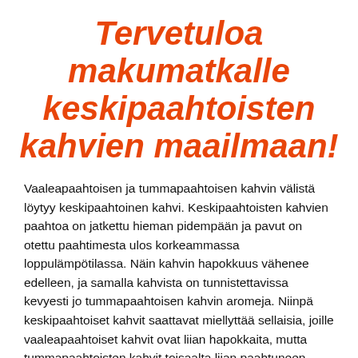Tervetuloa makumatkalle keskipaahtoisten kahvien maailmaan!
Vaaleapaahtoisen ja tummapaahtoisen kahvin välistä löytyy keskipaahtoinen kahvi. Keskipaahtoisten kahvien paahtoa on jatkettu hieman pidempään ja pavut on otettu paahtimesta ulos korkeammassa loppulämpötilassa. Näin kahvin hapokkuus vähenee edelleen, ja samalla kahvista on tunnistettavissa kevyesti jo tummapaahtoisen kahvin aromeja. Niinpä keskipaahtoiset kahvit saattavat miellyttää sellaisia, joille vaaleapaahtoiset kahvit ovat liian hapokkaita, mutta tummapaahtoisten kahvit toisaalta liian paahtuneen makuisia. Keskipaahtoista kahvista